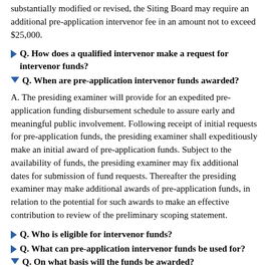substantially modified or revised, the Siting Board may require an additional pre-application intervenor fee in an amount not to exceed $25,000.
Q. How does a qualified intervenor make a request for intervenor funds?
Q. When are pre-application intervenor funds awarded?
A. The presiding examiner will provide for an expedited pre-application funding disbursement schedule to assure early and meaningful public involvement. Following receipt of initial requests for pre-application funds, the presiding examiner shall expeditiously make an initial award of pre-application funds. Subject to the availability of funds, the presiding examiner may fix additional dates for submission of fund requests. Thereafter the presiding examiner may make additional awards of pre-application funds, in relation to the potential for such awards to make an effective contribution to review of the preliminary scoping statement.
Q. Who is eligible for intervenor funds?
Q. What can pre-application intervenor funds be used for?
Q. On what basis will the funds be awarded?
A. The presiding examiner will award funds on an equitable basis